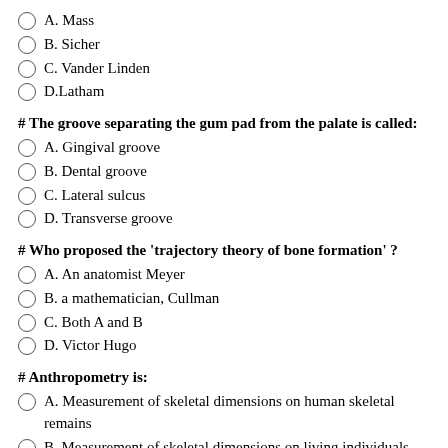A. Mass
B. Sicher
C. Vander Linden
D.Latham
# The groove separating the gum pad from the palate is called:
A. Gingival groove
B. Dental groove
C. Lateral sulcus
D. Transverse groove
# Who proposed the 'trajectory theory of bone formation' ?
A. An anatomist Meyer
B. a mathematician, Cullman
C. Both A and B
D. Victor Hugo
# Anthropometry is:
A. Measurement of skeletal dimensions on human skeletal remains
B. Measurement of skeletal dimensions on living individuals